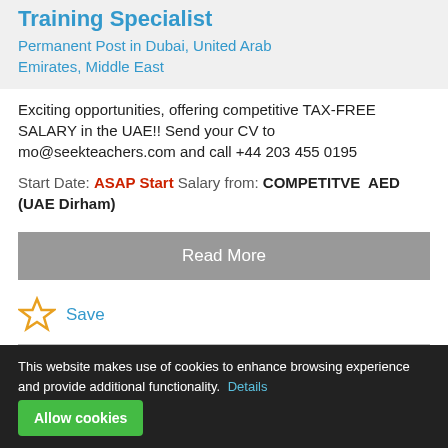Training Specialist
Permanent Post in Dubai, United Arab Emirates, Middle East
Exciting opportunities, offering competitive TAX-FREE SALARY in the UAE!! Send your CV to mo@seekteachers.com and call +44 203 455 0195
Start Date: ASAP Start Salary from: COMPETITVE AED (UAE Dirham)
Read More
Save
This website makes use of cookies to enhance browsing experience and provide additional functionality. Details
Allow cookies